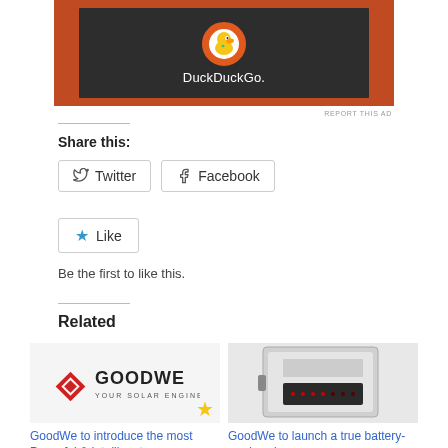[Figure (screenshot): DuckDuckGo advertisement banner with orange background and dark inner box showing the DuckDuckGo duck logo and text 'DuckDuckGo.']
REPORT THIS AD
Share this:
Twitter  Facebook
Like
Be the first to like this.
Related
[Figure (photo): GoodWe logo with red diamond icon and text 'GOODWE YOUR SOLAR ENGINE' with a gold star]
[Figure (photo): GoodWe solar inverter device photo]
GoodWe to introduce the most Powerful & Intelligent
GoodWe to launch a true battery-ready solar